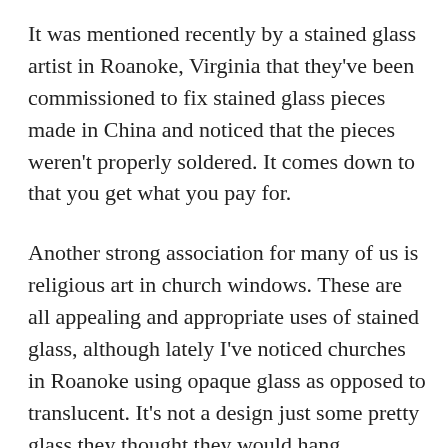It was mentioned recently by a stained glass artist in Roanoke, Virginia that they've been commissioned to fix stained glass pieces made in China and noticed that the pieces weren't properly soldered. It comes down to that you get what you pay for.
Another strong association for many of us is religious art in church windows. These are all appealing and appropriate uses of stained glass, although lately I've noticed churches in Roanoke using opaque glass as opposed to translucent. It's not a design just some pretty glass they thought they would hang.
It is exciting seeing contemporary stained glass art. Stained glass as a hobby is easy to learn, and it isn't hard on the hands and lastly don't take as long as say knitting. It's a great hobby for retirement communities, home